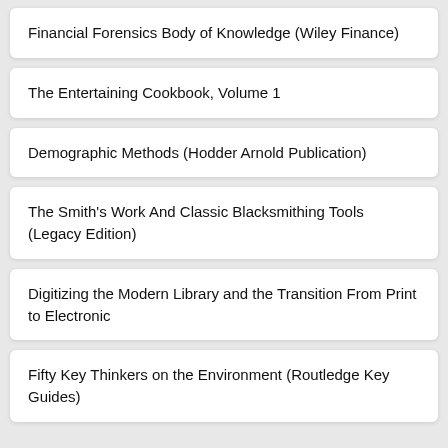Financial Forensics Body of Knowledge (Wiley Finance)
The Entertaining Cookbook, Volume 1
Demographic Methods (Hodder Arnold Publication)
The Smith's Work And Classic Blacksmithing Tools (Legacy Edition)
Digitizing the Modern Library and the Transition From Print to Electronic
Fifty Key Thinkers on the Environment (Routledge Key Guides)